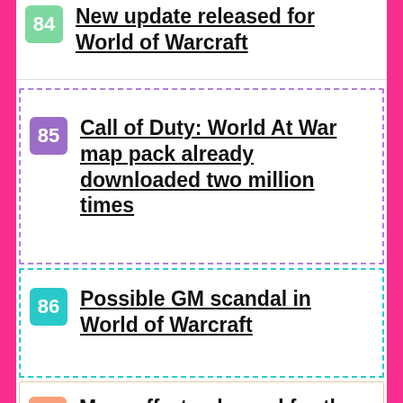84 New update released for World of Warcraft
85 Call of Duty: World At War map pack already downloaded two million times
86 Possible GM scandal in World of Warcraft
87 More efforts planned for the World Athletics Championships